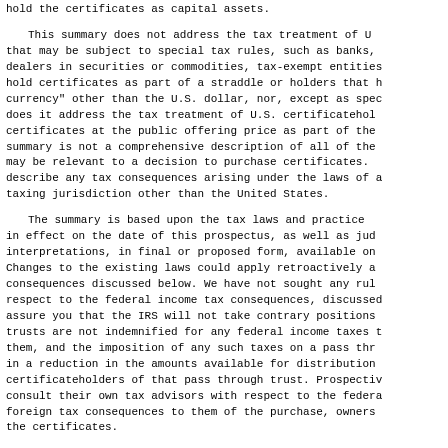hold the certificates as capital assets.
This summary does not address the tax treatment of U.S. holders that may be subject to special tax rules, such as banks, dealers in securities or commodities, tax-exempt entities, holders that hold certificates as part of a straddle or holders that have a "functional currency" other than the U.S. dollar, nor, except as specified below, does it address the tax treatment of U.S. certificateholders that purchase certificates at the public offering price as part of the initial offering. This summary is not a comprehensive description of all of the tax consequences that may be relevant to a decision to purchase certificates. This summary does not describe any tax consequences arising under the laws of any state, local or taxing jurisdiction other than the United States.
The summary is based upon the tax laws and practices currently in effect on the date of this prospectus, as well as judicial and administrative interpretations, in final or proposed form, available on that date. Changes to the existing laws could apply retroactively and could affect the tax consequences discussed below. We have not sought any ruling from the IRS with respect to the federal income tax consequences, discussed below, and cannot assure you that the IRS will not take contrary positions to those stated here. The trusts are not indemnified for any federal income taxes that may be imposed on them, and the imposition of any such taxes on a pass through trust could result in a reduction in the amounts available for distribution to the related certificateholders of that pass through trust. Prospective purchasers should consult their own tax advisors with respect to the federal, state, local and foreign tax consequences to them of the purchase, ownership and disposition of the certificates.
TAX STATUS OF THE PASS THROUGH TRUSTS